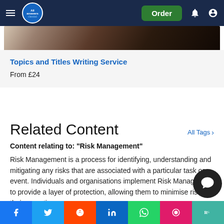All Answers — Order
[Figure (photo): Hero image showing books/study materials in dark tones]
Topics and Titles Writing Service
From £24
Related Content
Content relating to: "Risk Management"
Risk Management is a process for identifying, understanding and mitigating any risks that are associated with a particular task or event. Individuals and organisations implement Risk Management to provide a layer of protection, allowing them to minimise risk in their operations